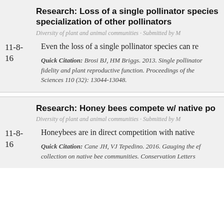Research: Loss of a single pollinator species can reduce specialization of other pollinators
Diversity of plant and animal communities · Submitted by M
11-8-16
Even the loss of a single pollinator species can re
Quick Citation: Brosi BJ, HM Briggs. 2013. Single pollinator fidelity and plant reproductive function. Proceedings of the Sciences 110 (32): 13044-13048.
Research: Honey bees compete w/ native po
Diversity of plant and animal communities · Submitted by M
11-8-16
Honeybees are in direct competition with native
Quick Citation: Cane JH, VJ Tepedino. 2016. Gauging the ef collection on native bee communities. Conservation Letters